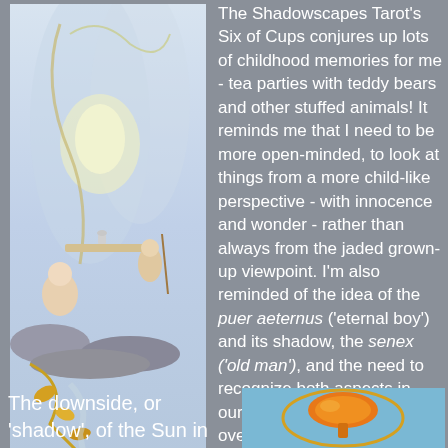[Figure (illustration): Shadowscapes Tarot Six of Cups card illustration showing whimsical fantasy scene with child-like figures having a tea party among rocks and trees with golden leaves flowing in a stream]
Six of Cups (trimmed):
© Shadowscapes Tarot
The Shadowscapes Tarot's Six of Cups conjures up lots of childhood memories for me - tea parties with teddy bears and other stuffed animals!  It reminds me that I need to be more open-minded, to look at things from a more child-like perspective - with innocence and wonder - rather than always from the jaded grown-up viewpoint.  I'm also reminded of the idea of the puer aeternus ('eternal boy') and its shadow, the senex ('old man'), and the need to recognize both aspects in ourselves, rather than let one overshadow the other.
The downside, or 'shadow', of the Sun in Scorpio/Six of
[Figure (illustration): Partial view of another tarot card showing an orange and golden mushroom or flower-like design in an oval frame against a light blue background]